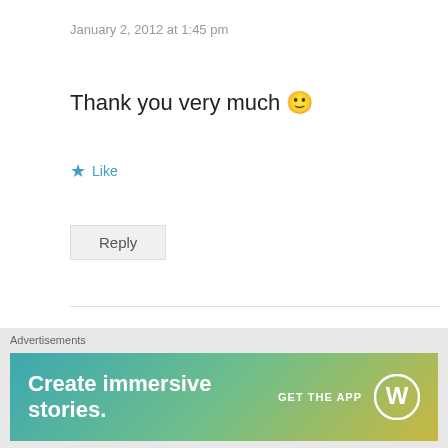January 2, 2012 at 1:45 pm
Thank you very much 🙂
★ Like
Reply
[Figure (illustration): Avatar icon of a blue cartoon gear-robot character with googly eyes and buckteeth, on a green base]
sachin mali
April 26, 2012 at 12:14 pm
Advertisements
[Figure (infographic): WordPress advertisement banner: teal-to-yellow gradient with text 'Create immersive stories.' and 'GET THE APP' with WordPress logo]